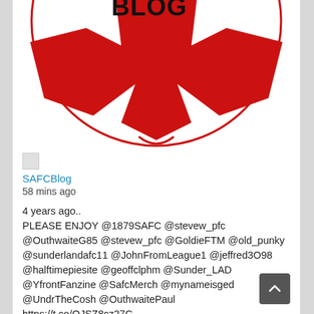[Figure (illustration): Red and white soccer ball with 'BLOG' text on it, partially cropped at top, drawn in red outline style]
[Figure (illustration): Small broken/placeholder image icon]
SAFCBlog
58 mins ago
4 years ago..
PLEASE ENJOY @1879SAFC @stevew_pfc @OuthwaiteG85 @stevew_pfc @GoldieFTM @old_punky @sunderlandafc11 @JohnFromLeague1 @jeffred3O98 @halftimepiesite @geoffclphm @Sunder_LAD @YfrontFanzine @SafcMerch @mynameisged @UndrTheCosh @OuthwaitePaul https://t.co/OJSZ8cz27C...